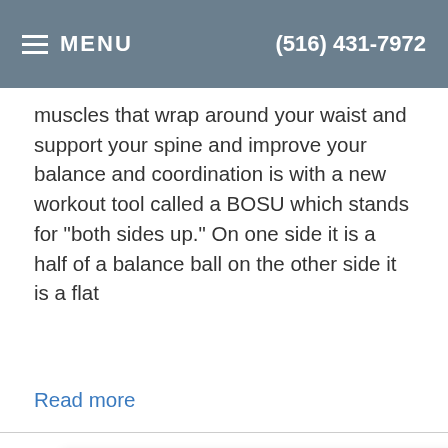MENU | (516) 431-7972
muscles that wrap around your waist and support your spine and improve your balance and coordination is with a new workout tool called a BOSU which stands for "both sides up." On one side it is a half of a balance ball on the other side it is a flat
Read more
★★★★★ - East Park Chiropractic Wellness PC
"I love the this Chiropractor. He keeps me aligned so that I can keep exercising over 50! Much love."
— Brett Goorland, in the last 2 weeks
⚡ by Review Wave